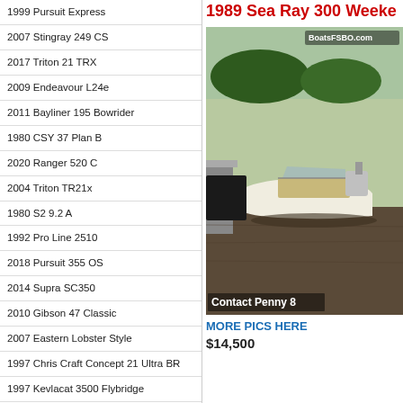1999 Pursuit Express
2007 Stingray 249 CS
2017 Triton 21 TRX
2009 Endeavour L24e
2011 Bayliner 195 Bowrider
1980 CSY 37 Plan B
2020 Ranger 520 C
2004 Triton TR21x
1980 S2 9.2 A
1992 Pro Line 2510
2018 Pursuit 355 OS
2014 Supra SC350
2010 Gibson 47 Classic
2007 Eastern Lobster Style
1997 Chris Craft Concept 21 Ultra BR
1997 Kevlacat 3500 Flybridge
1976 Trojan Tri Cabin
2006 Glastron 195
1989 Sea Ray 300 Weeke
[Figure (photo): Photo of a 1989 Sea Ray 300 boat docked at a marina, with BoatsFSBO.com watermark and 'Contact Penny 8' overlay text at the bottom.]
MORE PICS HERE
$14,500